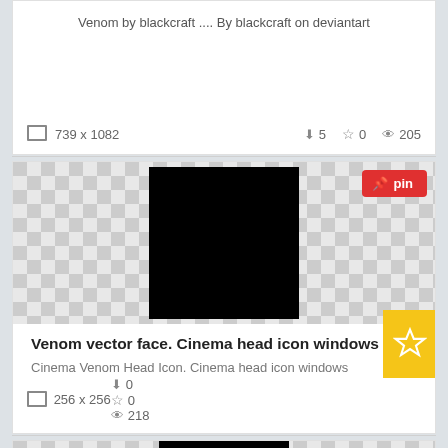Venom by blackcraft .... By blackcraft on deviantart
739 x 1082   ↓5  ☆0  👁 205
[Figure (screenshot): Black square image on checkerboard transparent background with red pin button]
Venom vector face. Cinema head icon windows
Cinema Venom Head Icon. Cinema head icon windows
256 x 256   ↓0  ☆0  👁 218
[Figure (screenshot): Partial view of black image with white curved shapes on checkerboard background with red pin button]